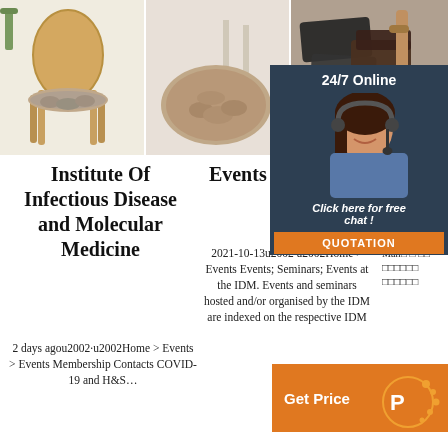[Figure (photo): Three product images at top: wooden chair with fluffy cushion, round fluffy rug, and folded dark textiles/socks]
[Figure (infographic): 24/7 online chat service widget with a woman wearing a headset, dark navy background, 'Click here for free chat!' text and orange QUOTATION button]
Institute Of Infectious Disease and Molecular Medicine
2 days agou2002·u2002Home > Events > Events Membership Contacts COVID-19 and H&S...
Events at the IDM
2021-10-13u2002·u2002Home > Events Events; Seminars; Events at the IDM. Events and seminars hosted and/or organised by the IDM are indexed on the respective IDM
[Figure (infographic): Orange Get Price button with orange dot pattern logo on right side]